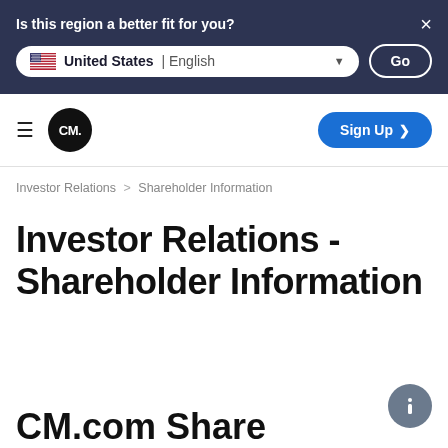Is this region a better fit for you? × United States | English ▼ Go
[Figure (screenshot): Navigation bar with hamburger menu, CM. logo circle, and blue Sign Up button]
Investor Relations > Shareholder Information
Investor Relations - Shareholder Information
CM.com Share